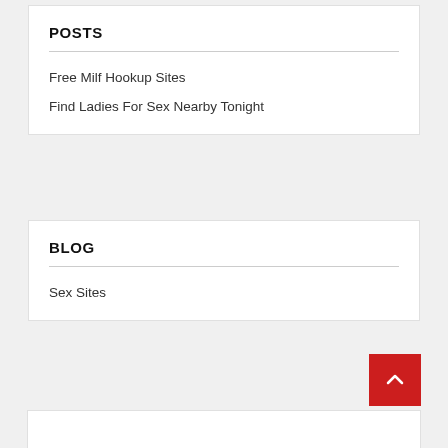POSTS
Free Milf Hookup Sites
Find Ladies For Sex Nearby Tonight
BLOG
Sex Sites